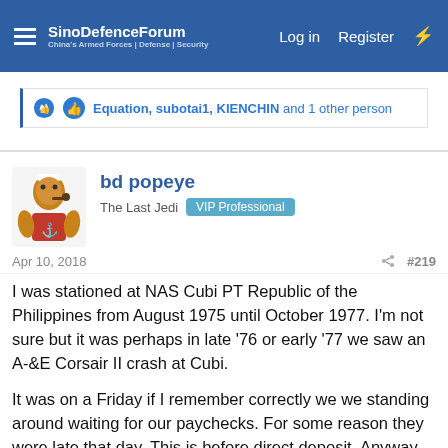SinoDefenceForum | Log in | Register
Equation, subotai1, KIENCHIN and 1 other person
bd popeye
The Last Jedi  VIP Professional
Apr 10, 2018  #219
I was stationed at NAS Cubi PT Republic of the Philippines from August 1975 until October 1977. I'm not sure but it was perhaps in late '76 or early '77 we saw an A-&E Corsair II crash at Cubi.

It was on a Friday if I remember correctly we we standing around waiting for our paychecks. For some reason they were late that day. This is before direct deposit. Anyway our shop was on a hill and overlooked the runway. VA-56 & VA-93 were at Cubi Pt transitioning from A-7Bs to the E model. They were also on assignment to CVW-5 at sea Mid-